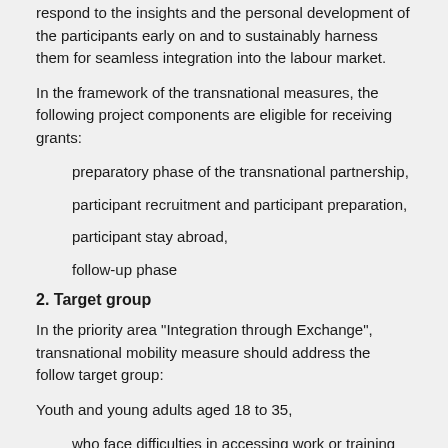respond to the insights and the personal development of the participants early on and to sustainably harness them for seamless integration into the labour market.
In the framework of the transnational measures, the following project components are eligible for receiving grants:
preparatory phase of the transnational partnership,
participant recruitment and participant preparation,
participant stay abroad,
follow-up phase
2. Target group
In the priority area "Integration through Exchange", transnational mobility measure should address the follow target group:
Youth and young adults aged 18 to 35,
who face difficulties in accessing work or training for several individual or structural reasons, such as long-term